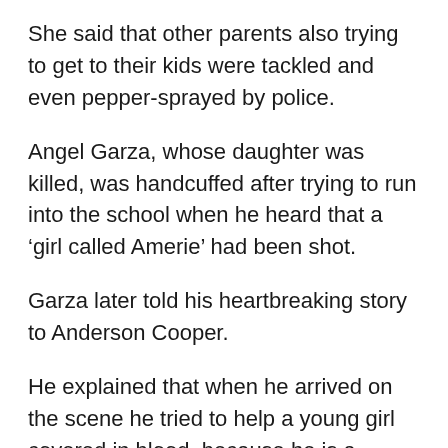She said that other parents also trying to get to their kids were tackled and even pepper-sprayed by police.
Angel Garza, whose daughter was killed, was handcuffed after trying to run into the school when he heard that a ‘girl called Amerie’ had been shot.
Garza later told his heartbreaking story to Anderson Cooper.
He explained that when he arrived on the scene he tried to help a young girl covered in blood, because he is a trained medic.
The girl explained she wasn’t hurt and the blood